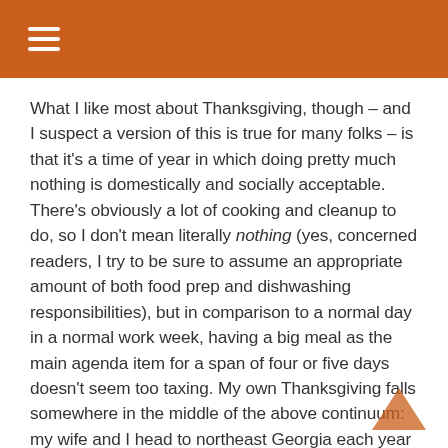≡
What I like most about Thanksgiving, though – and I suspect a version of this is true for many folks – is that it's a time of year in which doing pretty much nothing is domestically and socially acceptable. There's obviously a lot of cooking and cleanup to do, so I don't mean literally nothing (yes, concerned readers, I try to be sure to assume an appropriate amount of both food prep and dishwashing responsibilities), but in comparison to a normal day in a normal work week, having a big meal as the main agenda item for a span of four or five days doesn't seem too taxing. My own Thanksgiving falls somewhere in the middle of the above continuum: my wife and I head to northeast Georgia each year to visit her family, so there's some travel involved,